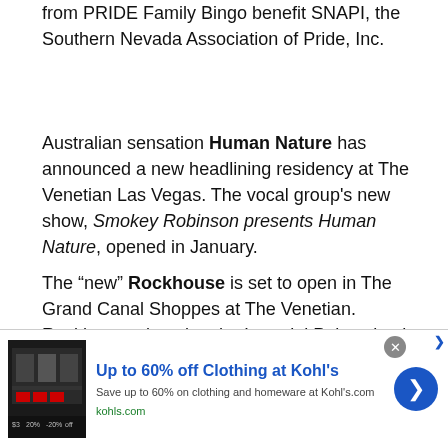from PRIDE Family Bingo benefit SNAPI, the Southern Nevada Association of Pride, Inc.
Australian sensation Human Nature has announced a new headlining residency at The Venetian Las Vegas. The vocal group's new show, Smokey Robinson presents Human Nature, opened in January.
The “new” Rockhouse is set to open in The Grand Canal Shoppes at The Venetian.  Rockhouse closed at the Imperial Palace back in May,
The D Grill is now open.  Located inside its namesake recently transformed downtown property, the casual
[Figure (screenshot): Advertisement banner for Kohl's: Up to 60% off Clothing at Kohl's. Save up to 60% on clothing and homeware at Kohls.com. kohls.com. Shows a close button (x) and a forward arrow button.]